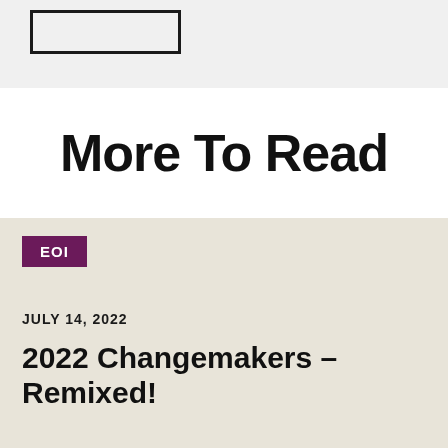[Figure (logo): Rectangle logo outline box in top left on grey background]
More To Read
EOI
JULY 14, 2022
2022 Changemakers – Remixed!